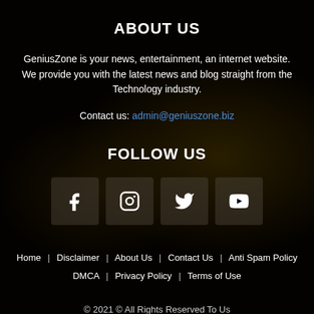ABOUT US
GeniusZone is your news, entertainment, an internet website. We provide you with the latest news and blog straight from the Technology industry.
Contact us: admin@geniuszone.biz
FOLLOW US
[Figure (other): Four social media icon boxes: Facebook (f), Instagram, Twitter (bird), YouTube (play button)]
Home | Disclaimer | About Us | Contact Us | Anti Spam Policy | DMCA | Privacy Policy | Terms of Use
© 2021 © All Rights Reserved To Us